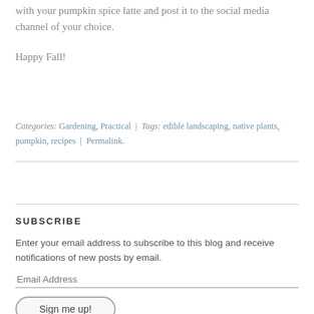with your pumpkin spice latte and post it to the social media channel of your choice.
Happy Fall!
Categories: Gardening, Practical | Tags: edible landscaping, native plants, pumpkin, recipes | Permalink.
SUBSCRIBE
Enter your email address to subscribe to this blog and receive notifications of new posts by email.